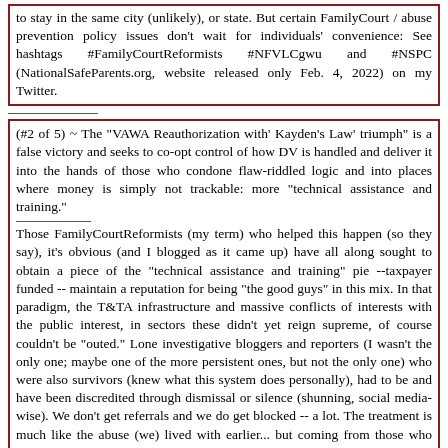to stay in the same city (unlikely), or state. But certain FamilyCourt / abuse prevention policy issues don't wait for individuals' convenience: See hashtags #FamilyCourtReformists #NFVLCgwu and #NSPC (NationalSafeParents.org, website released only Feb. 4, 2022) on my Twitter.
(#2 of 5) ~ The "VAWA Reauthorization with' Kayden's Law' triumph" is a false victory and seeks to co-opt control of how DV is handled and deliver it into the hands of those who condone flaw-riddled logic and into places where money is simply not trackable: more "technical assistance and training."
Those FamilyCourtReformists (my term) who helped this happen (so they say), it's obvious (and I blogged as it came up) have all along sought to obtain a piece of the "technical assistance and training" pie --taxpayer funded -- maintain a reputation for being "the good guys" in this mix. In that paradigm, the T&TA infrastructure and massive conflicts of interests with the public interest, in sectors these didn't yet reign supreme, of course couldn't be "outed." Lone investigative bloggers and reporters (I wasn't the only one; maybe one of the more persistent ones, but not the only one) who were also survivors (knew what this system does personally), had to be and have been discredited through dismissal or silence (shunning, social media-wise). We don't get referrals and we do get blocked -- a lot. The treatment is much like the abuse (we) lived with earlier... but coming from those who claim to be concerned about our kind.
All this is far beyond just routine betrayal of those for whom concern is claimed. It is not the product of being innocently ignorant or mistaken (I've documented that extensively, see my last post of 2014, for one example). It's self-aggrandizement and callous indifference to factors reasonably known which would (in a flash) dismantle the primary premises of VAWA reauthorized with "Kayden's Law."